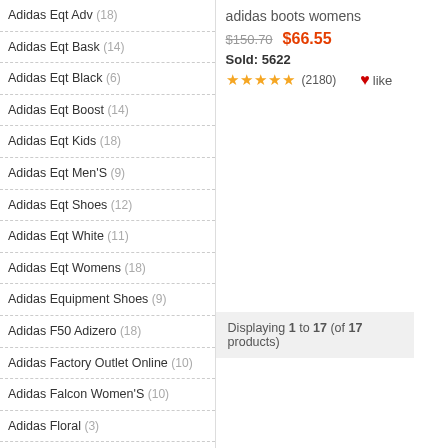Adidas Eqt Adv (18)
Adidas Eqt Bask (14)
Adidas Eqt Black (6)
Adidas Eqt Boost (14)
Adidas Eqt Kids (18)
Adidas Eqt Men'S (9)
Adidas Eqt Shoes (12)
Adidas Eqt White (11)
Adidas Eqt Womens (18)
Adidas Equipment Shoes (9)
Adidas F50 Adizero (18)
Adidas Factory Outlet Online (10)
Adidas Falcon Women'S (10)
Adidas Floral (3)
Adidas Floral Shoes (10)
Adidas Flower Shoes (20)
adidas boots womens
$150.70  $66.55  Sold: 5622
★★★★★ (2180) like
Displaying 1 to 17 (of 17 products)